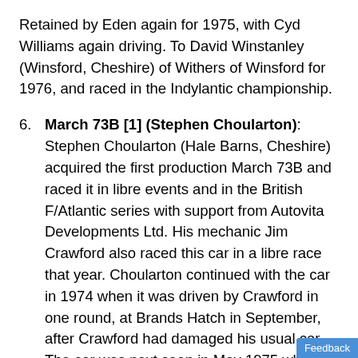Retained by Eden again for 1975, with Cyd Williams again driving. To David Winstanley (Winsford, Cheshire) of Withers of Winsford for 1976, and raced in the Indylantic championship.
6. March 73B [1] (Stephen Choularton): Stephen Choularton (Hale Barns, Cheshire) acquired the first production March 73B and raced it in libre events and in the British F/Atlantic series with support from Autovita Developments Ltd. His mechanic Jim Crawford also raced this car in a libre race that year. Choularton continued with the car in 1974 when it was driven by Crawford in one round, at Brands Hatch in September, after Crawford had damaged his usual car. The car was next seen in May 1975 when Choularton dusted it off for Cyd Williams to drive after Williams had wrecked Graham Eden's Brabham